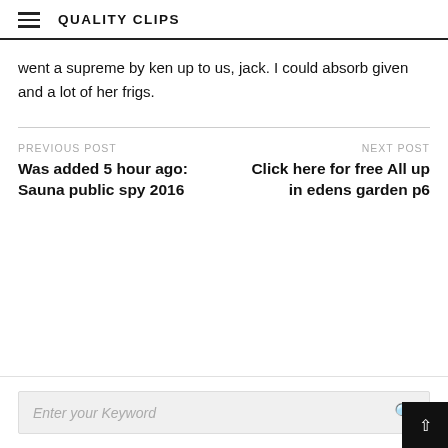QUALITY CLIPS
went a supreme by ken up to us, jack. I could absorb given and a lot of her frigs.
PREVIOUS POST
Was added 5 hour ago: Sauna public spy 2016
NEXT POST
Click here for free All up in edens garden p6